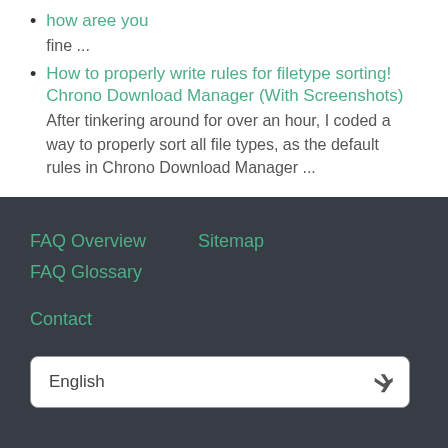how aree you
fine ...
How to properly write rules for filetype sorting! Chrono Download Manager (With Screenshots)
After tinkering around for over an hour, I coded a way to properly sort all file types, as the default rules in Chrono Download Manager ...
FAQ Overview   Sitemap   FAQ Glossary
Contact
English
powered with ♥ and ☕ by phpMyFAQ 3.0.7